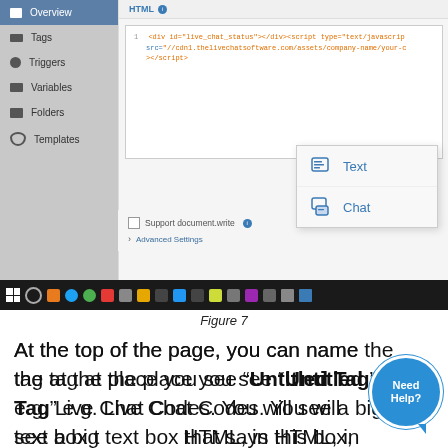[Figure (screenshot): Google Tag Manager UI screenshot showing left sidebar with Overview (active/highlighted), Tags, Triggers, Variables, Folders, Templates navigation items, and main panel showing HTML tab with code editor containing div and script tags in orange/blue syntax highlighting, plus a dropdown menu showing Text and Chat options, and Support document.write checkbox with Advanced Settings link below.]
Figure 7
At the top of the page, you can name the tag at the place you see “Untitled Tag” e.g. Live Chat Codes. You will see a big text box that says HTML, in this box, paste the code we have given to you using copy/paste. Shown as (1) in figure 7.